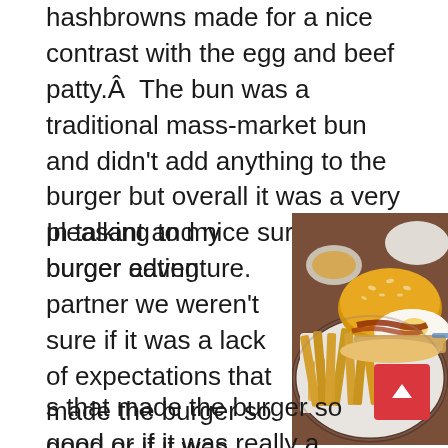hashbrowns made for a nice contrast with the egg and beef patty.Â  The bun was a traditional mass-market bun and didn't add anything to the burger but overall it was a very pleasant and nice surprise of a burger adventure.
In talking to my burger eating partner we weren't sure if it was a lack of expectations that made the burger so good or if it was really a good burger but with that said, I'm about to
[Figure (photo): A burger with a sesame seed bun served on a white plate with french fries, accompanied by a small bowl of dipping sauce. The burger appears to contain bacon, egg, and hashbrowns.]